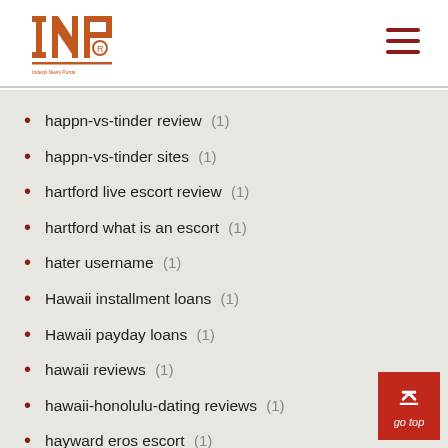INP logo and navigation
happn-vs-tinder review (1)
happn-vs-tinder sites (1)
hartford live escort review (1)
hartford what is an escort (1)
hater username (1)
Hawaii installment loans (1)
Hawaii payday loans (1)
hawaii reviews (1)
hawaii-honolulu-dating reviews (1)
hayward eros escort (1)
hayward what is an escort (1)